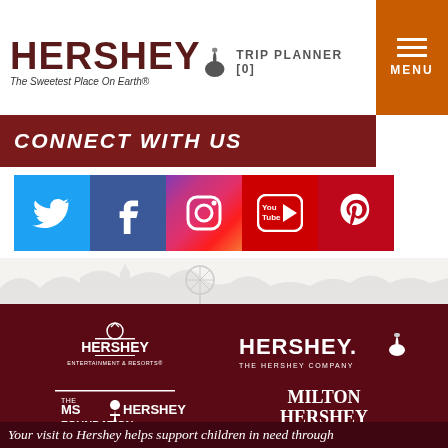HERSHEY The Sweetest Place On Earth®  TRIP PLANNER [0]
CONNECT WITH US
[Figure (other): Social media icons row: Twitter, Facebook, Instagram, YouTube, Pinterest]
[Figure (other): Amusement park skyline silhouette]
[Figure (other): Hershey Entertainment & Resorts logo, white on dark maroon background]
[Figure (other): The Hershey Company logo, white on dark maroon background]
[Figure (other): The M.S. Hershey Foundation logo, white on dark maroon background]
[Figure (other): Milton Hershey School text logo, white on dark maroon background]
Your visit to Hershey helps support children in need through